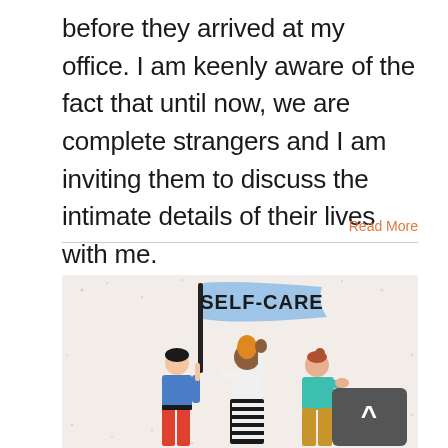before they arrived at my office. I am keenly aware of the fact that until now, we are complete strangers and I am inviting them to discuss the intimate details of their lives with me.
Read More
[Figure (illustration): Illustration of three diverse women holding a blue banner that reads SELF-CARE in bold black letters. The women are depicted in a flat cartoon style with colorful clothing. A dark gray scroll-to-top button with a caret symbol is overlaid in the bottom-right corner.]